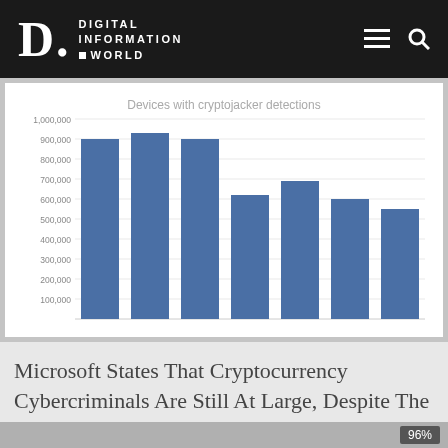DIGITAL INFORMATION WORLD
[Figure (bar-chart): Devices with cryptojacker detections]
Microsoft States That Cryptocurrency Cybercriminals Are Still At Large, Despite The Currency Losing Its Value